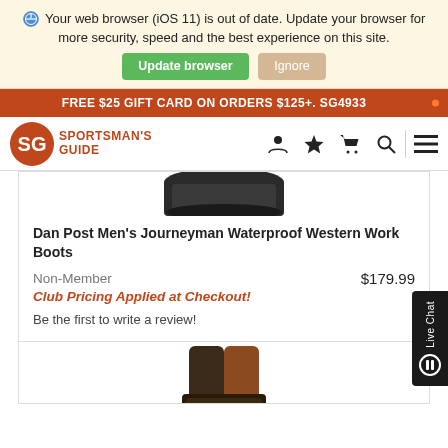Your web browser (iOS 11) is out of date. Update your browser for more security, speed and the best experience on this site.
Update browser   Ignore
FREE $25 GIFT CARD ON ORDERS $125+. SG4933
[Figure (logo): Sportsman's Guide logo with orange SG circular emblem and text]
[Figure (screenshot): Top portion of a dark boot product image]
Dan Post Men's Journeyman Waterproof Western Work Boots
Non-Member    $179.99
Club Pricing Applied at Checkout!
Be the first to write a review!
[Figure (photo): Bottom portion of second boot product image]